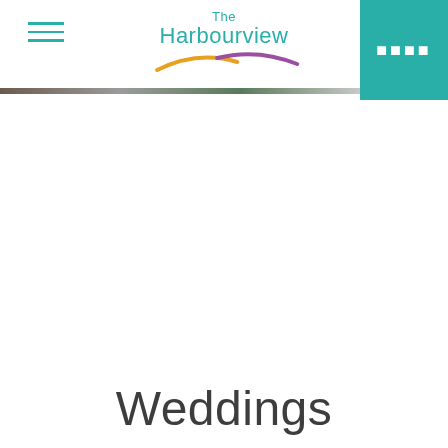[Figure (logo): The Harbourview logo with teal text and a multicolor swoosh wave beneath, plus a teal square button in the top-right corner with white dots, and a hamburger menu icon on the left]
Weddings